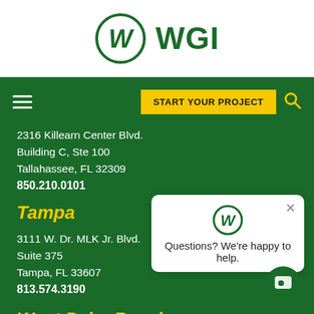[Figure (logo): WGI company logo — circular W icon with 'WGI' text in dark green]
Navigation bar with hamburger menu, START YOUR PROJECT button, and search icon
2316 Killearn Center Blvd.
Building C, Ste 100
Tallahassee, FL 32309
850.210.0101
Tampa
3111 W. Dr. MLK Jr. Blvd.
Suite 375
Tampa, FL 33607
813.574.3190
[Figure (screenshot): Chat popup widget with WGI logo, close X button, and text 'Questions? We're happy to help.']
West Palm Beach
2035 Vista Parkway
West Palm Beach, FL 33411